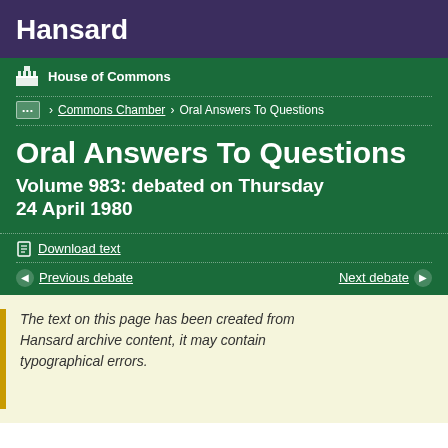Hansard
House of Commons
... > Commons Chamber > Oral Answers To Questions
Oral Answers To Questions
Volume 983: debated on Thursday 24 April 1980
Download text
Previous debate   Next debate
The text on this page has been created from Hansard archive content, it may contain typographical errors.